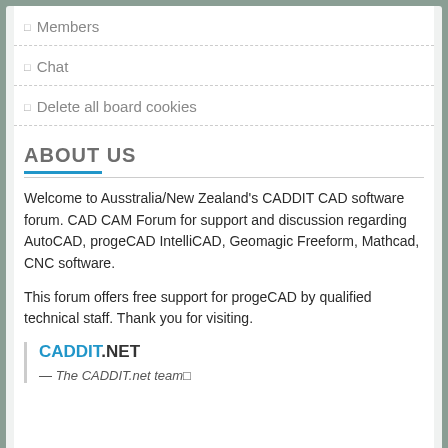Members
Chat
Delete all board cookies
ABOUT US
Welcome to Ausstralia/New Zealand's CADDIT CAD software forum. CAD CAM Forum for support and discussion regarding AutoCAD, progeCAD IntelliCAD, Geomagic Freeform, Mathcad, CNC software.
This forum offers free support for progeCAD by qualified technical staff. Thank you for visiting.
CADDIT.NET
— The CADDIT.net team